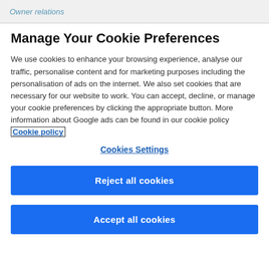Owner relations
Manage Your Cookie Preferences
We use cookies to enhance your browsing experience, analyse our traffic, personalise content and for marketing purposes including the personalisation of ads on the internet. We also set cookies that are necessary for our website to work. You can accept, decline, or manage your cookie preferences by clicking the appropriate button. More information about Google ads can be found in our cookie policy Cookie policy
Cookies Settings
Reject all cookies
Accept all cookies